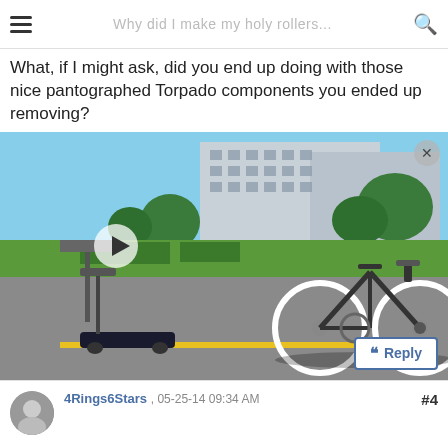Why did I make my holy rollers...
What, if I might ask, did you end up doing with those nice pantographed Torpado components you ended up removing?
[Figure (screenshot): Video thumbnail showing a bicycle with white wheels and a skateboard on a road, with buildings and trees in background. Has a play button overlay, a close (x) button, and a Reply button.]
#4
4Rings6Stars , 05-25-14 09:34 AM